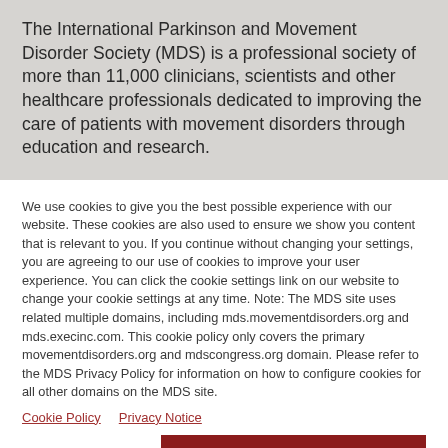The International Parkinson and Movement Disorder Society (MDS) is a professional society of more than 11,000 clinicians, scientists and other healthcare professionals dedicated to improving the care of patients with movement disorders through education and research.
We use cookies to give you the best possible experience with our website. These cookies are also used to ensure we show you content that is relevant to you. If you continue without changing your settings, you are agreeing to our use of cookies to improve your user experience. You can click the cookie settings link on our website to change your cookie settings at any time. Note: The MDS site uses related multiple domains, including mds.movementdisorders.org and mds.execinc.com. This cookie policy only covers the primary movementdisorders.org and mdscongress.org domain. Please refer to the MDS Privacy Policy for information on how to configure cookies for all other domains on the MDS site.
Cookie Policy   Privacy Notice
Cookie Settings   ACCEPT ALL COOKIES